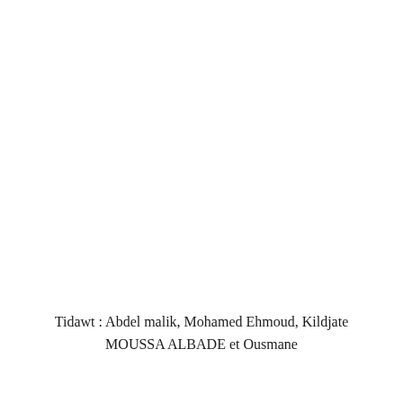Tidawt : Abdel malik, Mohamed Ehmoud, Kildjate MOUSSA ALBADE et Ousmane